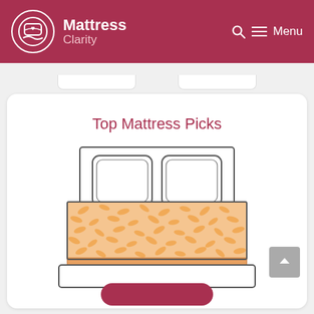Mattress Clarity — Menu
Top Mattress Picks
[Figure (illustration): Line drawing of a bed with an orange patterned mattress and two pillows, viewed from the front. The mattress has a decorative scatter pattern in orange/peach tones.]